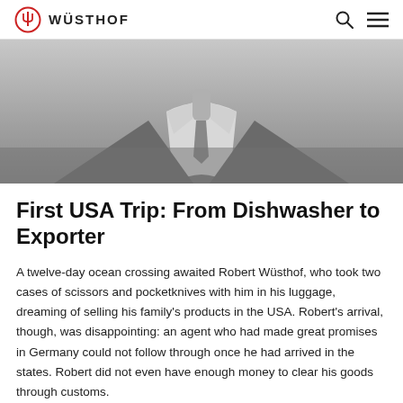WÜSTHOF
[Figure (photo): Black and white photograph of a man in a suit and tie, cropped to show collar and chest area]
First USA Trip: From Dishwasher to Exporter
A twelve-day ocean crossing awaited Robert Wüsthof, who took two cases of scissors and pocketknives with him in his luggage, dreaming of selling his family's products in the USA. Robert's arrival, though, was disappointing: an agent who had made great promises in Germany could not follow through once he had arrived in the states. Robert did not even have enough money to clear his goods through customs.
For several months, Robert managed to keep his head above water